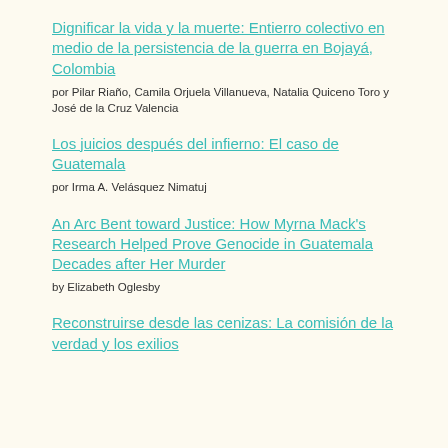Dignificar la vida y la muerte: Entierro colectivo en medio de la persistencia de la guerra en Bojayá, Colombia
por Pilar Riaño, Camila Orjuela Villanueva, Natalia Quiceno Toro y José de la Cruz Valencia
Los juicios después del infierno: El caso de Guatemala
por Irma A. Velásquez Nimatuj
An Arc Bent toward Justice: How Myrna Mack's Research Helped Prove Genocide in Guatemala Decades after Her Murder
by Elizabeth Oglesby
Reconstruirse desde las cenizas: La comisión de la verdad y los exilios